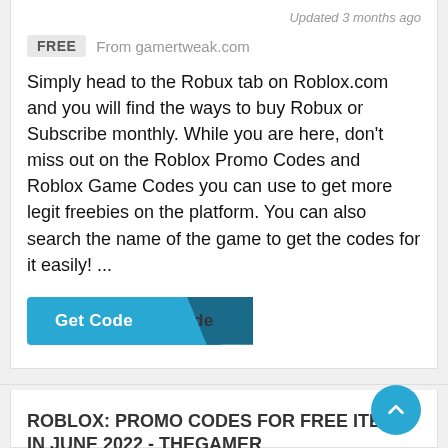Updated 3 months ago
FREE  From gamertweak.com
Simply head to the Robux tab on Roblox.com and you will find the ways to buy Robux or Subscribe monthly. While you are here, don't miss out on the Roblox Promo Codes and Roblox Game Codes you can use to get more legit freebies on the platform. You can also search the name of the game to get the codes for it easily! ...
[Figure (other): A teal/blue 'Get Code' button with a dark diagonal overlay showing 'de' text]
ROBLOX: PROMO CODES FOR FREE ITEMS IN JUNE 2022 - THEGAMER
Updated 3 months